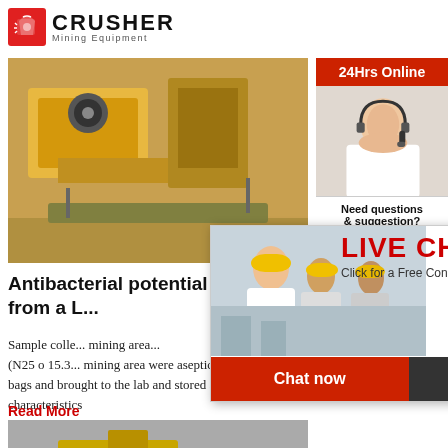[Figure (logo): Crusher Mining Equipment logo with red shopping bag icon and bold CRUSHER text]
[Figure (photo): Yellow industrial crusher / mining equipment machinery]
Antibacterial potential of Actinob... from a L...
Sample colle... mining area (N25 o 15.3... mining area were aseptically collected in steriliza... bags and brought to the lab and stored at 4±1 c... further use.. Determination of soil physico-chem... characteristics
Read More
[Figure (photo): Excavator working in mining/quarry area with water]
[Figure (screenshot): Live Chat popup overlay with workers in hard hats, LIVE CHAT text, Click for a Free Consultation, Chat now and Chat later buttons, and customer service representative photo]
[Figure (infographic): Right sidebar: 24Hrs Online header, customer service rep photo, Need questions & suggestion? Chat Now button, Enquiry section, limingjlmofen@sina.com email]